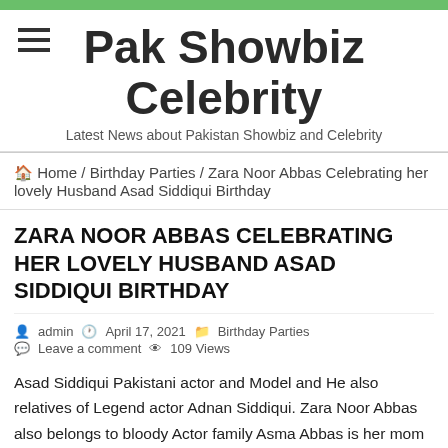Pak Showbiz Celebrity
Latest News about Pakistan Showbiz and Celebrity
Home / Birthday Parties / Zara Noor Abbas Celebrating her lovely Husband Asad Siddiqui Birthday
ZARA NOOR ABBAS CELEBRATING HER LOVELY HUSBAND ASAD SIDDIQUI BIRTHDAY
admin   April 17, 2021   Birthday Parties
Leave a comment   109 Views
Asad Siddiqui Pakistani actor and Model and He also relatives of Legend actor Adnan Siddiqui. Zara Noor Abbas also belongs to bloody Actor family Asma Abbas is her mom and Bushra Ansari her aunt. Zara becomes got ultra pro popularity in few years in 2017 she